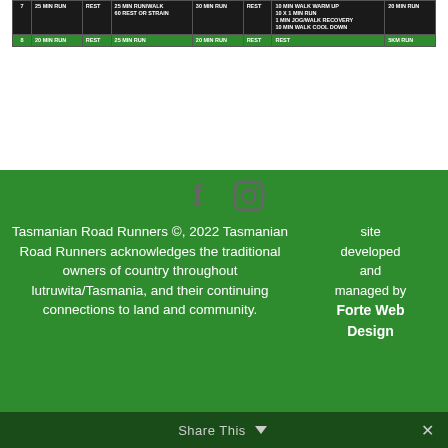| Week | Mon | Tue | Wed | Thu | Fri | Sat | Sun |
| --- | --- | --- | --- | --- | --- | --- | --- |
| 7 | 25 MIN RUN | REST | 25 MIN RUN/WALK
60 REST OR STRAIN | 30 MIN RUN | REST | 10 MIN WALK WARM UP
10 X 1 MIN RUN
1 MIN JOG/WALK RECOVERY
10 MIN WALK COOL DOWN | 20 MIN RUN |
| 8 | 20 MIN RUN | REST | 25 MIN RUN | 20 MIN RUN | REST | REST | 5KM RUN |
[Figure (other): Facebook and Instagram social media icons]
Tasmanian Road Runners ©, 2022 Tasmanian Road Runners acknowledges the traditional owners of country throughout lutruwita/Tasmania, and their continuing connections to land and community.
site developed and managed by Forte Web Design
Share This ∨  ✕